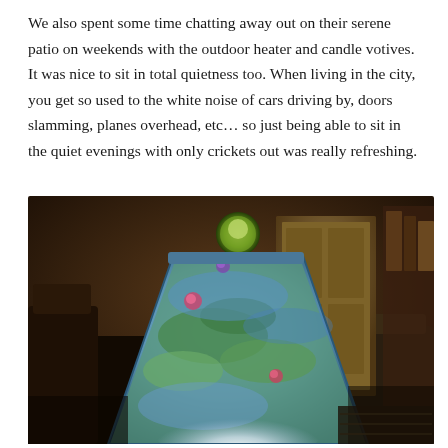We also spent some time chatting away out on their serene patio on weekends with the outdoor heater and candle votives. It was nice to sit in total quietness too. When living in the city, you get so used to the white noise of cars driving by, doors slamming, planes overhead, etc… so just being able to sit in the quiet evenings with only crickets out was really refreshing.
[Figure (photo): A close-up indoor/patio scene showing a decorative candle votive or lantern with a colorful floral (water lily) painted design, glowing from within. The background shows a dimly lit interior room with furniture and a door visible, in warm amber tones.]